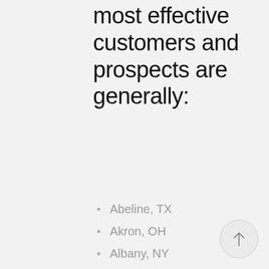most effective customers and prospects are generally:
Abeline, TX
Akron, OH
Albany, NY
Albuquerque, NM
Anaheim, CA
Arlington, TX
Asheville, NC
Atlanta, GA
Aurora, CO
Austin, TX
Bakersfield, CA